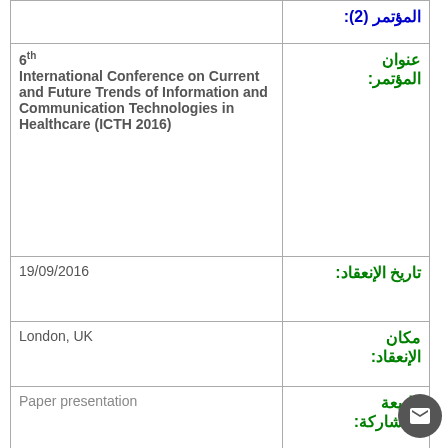| Left Content | Arabic Label |
| --- | --- |
|  | المؤتمر (2): |
| 6th International Conference on Current and Future Trends of Information and Communication Technologies in Healthcare (ICTH 2016) | عنوان المؤتمر: |
| 19/09/2016 | تاريخ الإنعقاد: |
| London, UK | مكان الإنعقاد: |
| Paper presentation | طبيعة المشاركة: |
| Strategic Value of Cloud Computing in Healthcare organisations using the Balanced Scorecard Approach: A | عنوان المشاركة: |